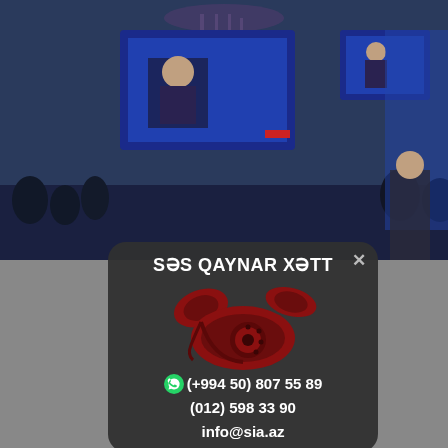[Figure (photo): Background photo of a conference/political event with screens showing a speaker, people in audience, and flags. Partially visible behind a popup overlay.]
[Figure (infographic): Dark rounded popup card with title 'SƏS QAYNAR XƏTT', image of a red rotary telephone, WhatsApp icon with phone number (+994 50) 807 55 89, landline (012) 598 33 90, and email info@sia.az]
SƏS QAYNAR XƏTT
(+994 50) 807 55 89
(012) 598 33 90
info@sia.az
Aze... n and Italy